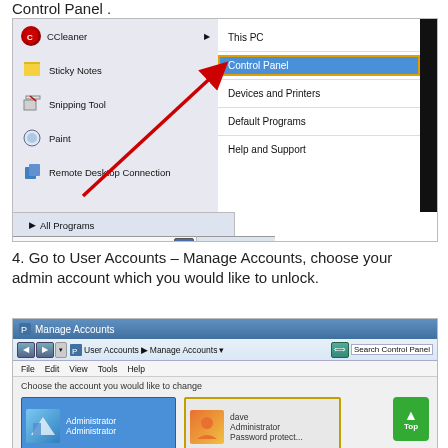Control Panel .
[Figure (screenshot): Windows 7 Start menu with Control Panel highlighted in blue with a red arrow pointing to it. Left panel shows CCleaner, Sticky Notes, Snipping Tool, Paint, Remote Desktop Connection. Right panel shows This PC, Control Panel (highlighted), Devices and Printers, Default Programs, Help and Support. Taskbar shows Start button, Excel, Word, Outlook icons.]
4. Go to User Accounts – Manage Accounts, choose your admin account which you would like to unlock.
[Figure (screenshot): Windows 7 Manage Accounts control panel window showing navigation bar with User Accounts > Manage Accounts path, menubar with File Edit View Tools Help, text 'Choose the account you would like to change', and two account icons: Administrator and dave (Administrator, Password protect).]